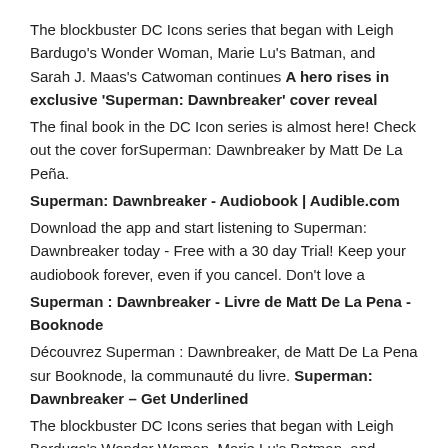The blockbuster DC Icons series that began with Leigh Bardugo's Wonder Woman, Marie Lu's Batman, and Sarah J. Maas's Catwoman continues A hero rises in exclusive 'Superman: Dawnbreaker' cover reveal
The final book in the DC Icon series is almost here! Check out the cover forSuperman: Dawnbreaker by Matt De La Peña.
Superman: Dawnbreaker - Audiobook | Audible.com
Download the app and start listening to Superman: Dawnbreaker today - Free with a 30 day Trial! Keep your audiobook forever, even if you cancel. Don't love a
Superman : Dawnbreaker - Livre de Matt De La Pena - Booknode
Découvrez Superman : Dawnbreaker, de Matt De La Pena sur Booknode, la communauté du livre. Superman: Dawnbreaker – Get Underlined
The blockbuster DC Icons series that began with Leigh Bardugo's Wonder Woman, Marie Lu's Batman, and Sarah J. Maas's Catwoman continues with the story. Camile Souza